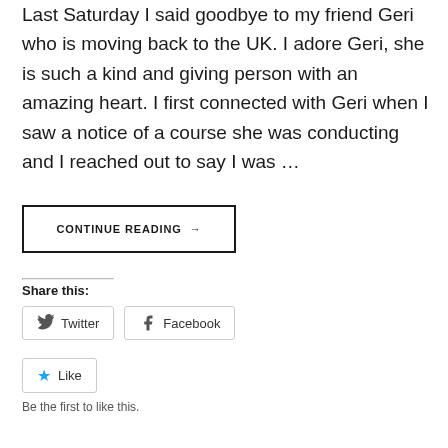Last Saturday I said goodbye to my friend Geri who is moving back to the UK. I adore Geri, she is such a kind and giving person with an amazing heart. I first connected with Geri when I saw a notice of a course she was conducting and I reached out to say I was …
CONTINUE READING →
Share this:
Twitter
Facebook
Like
Be the first to like this.